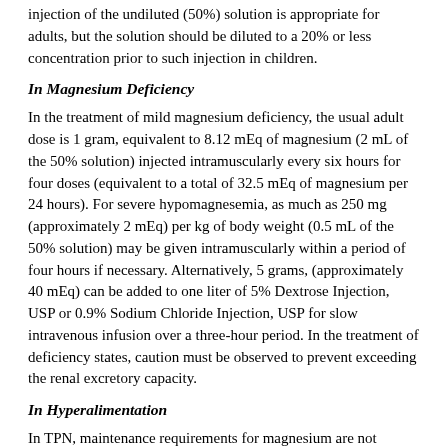injection of the undiluted (50%) solution is appropriate for adults, but the solution should be diluted to a 20% or less concentration prior to such injection in children.
In Magnesium Deficiency
In the treatment of mild magnesium deficiency, the usual adult dose is 1 gram, equivalent to 8.12 mEq of magnesium (2 mL of the 50% solution) injected intramuscularly every six hours for four doses (equivalent to a total of 32.5 mEq of magnesium per 24 hours). For severe hypomagnesemia, as much as 250 mg (approximately 2 mEq) per kg of body weight (0.5 mL of the 50% solution) may be given intramuscularly within a period of four hours if necessary. Alternatively, 5 grams, (approximately 40 mEq) can be added to one liter of 5% Dextrose Injection, USP or 0.9% Sodium Chloride Injection, USP for slow intravenous infusion over a three-hour period. In the treatment of deficiency states, caution must be observed to prevent exceeding the renal excretory capacity.
In Hyperalimentation
In TPN, maintenance requirements for magnesium are not precisely known. The maintenance dose used in adults ranges from 8 to 24 mEq (1 gram to 3 grams) daily; for infants, the range is 2 to 10 mEq (0.25 gram to 1.25 grams) daily.
In Pre-eclampsia or Eclampsia